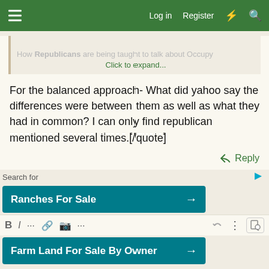Log in   Register
How Republicans are being taught to talk about Occupy
Click to expand...
For the balanced approach- What did yahoo say the differences were between them as well as what they had in common? I can only find republican mentioned several times.[/quote]
Reply
Search for
Ranches For Sale →
Farm Land For Sale By Owner →
Yahoo! Search | Sponsored